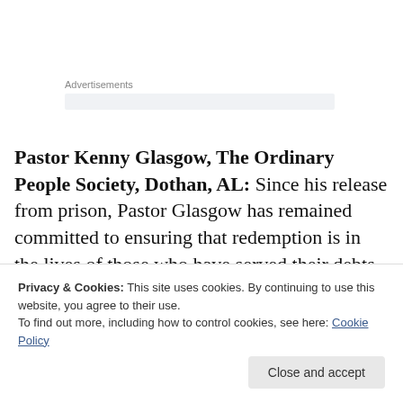Advertisements
Pastor Kenny Glasgow, The Ordinary People Society, Dothan, AL: Since his release from prison, Pastor Glasgow has remained committed to ensuring that redemption is in the lives of those who have served their debts to society. He is Executive Director/Founder of
Privacy & Cookies: This site uses cookies. By continuing to use this website, you agree to their use.
To find out more, including how to control cookies, see here: Cookie Policy
Close and accept
and restoration efforts, Pastor Glasgow led the successful